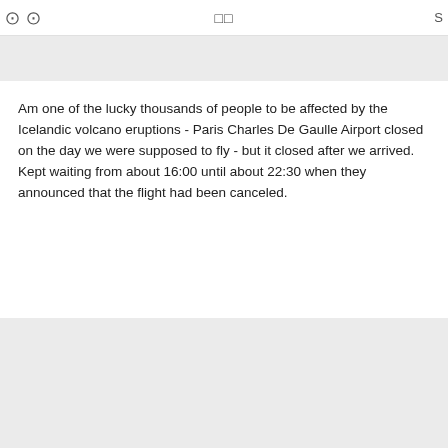❑  ❑  CJ  S
Am one of the lucky thousands of people to be affected by the Icelandic volcano eruptions - Paris Charles De Gaulle Airport closed on the day we were supposed to fly - but it closed after we arrived. Kept waiting from about 16:00 until about 22:30 when they announced that the flight had been canceled.